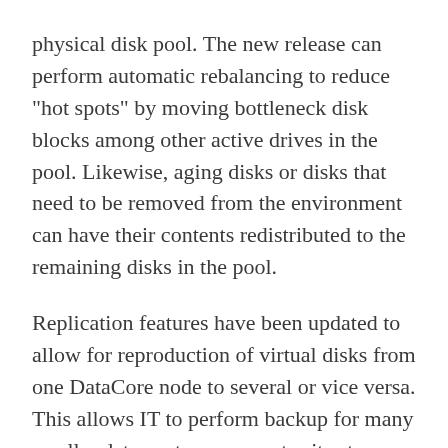physical disk pool. The new release can perform automatic rebalancing to reduce "hot spots" by moving bottleneck disk blocks among other active drives in the pool. Likewise, aging disks or disks that need to be removed from the environment can have their contents redistributed to the remaining disks in the pool.
Replication features have been updated to allow for reproduction of virtual disks from one DataCore node to several or vice versa. This allows IT to perform backup for many smaller data centers or remote sites to a central data center or to spread backup among multiple data centers. IT can also test disaster recovery by using a replicated virtual disk at a secondary site without